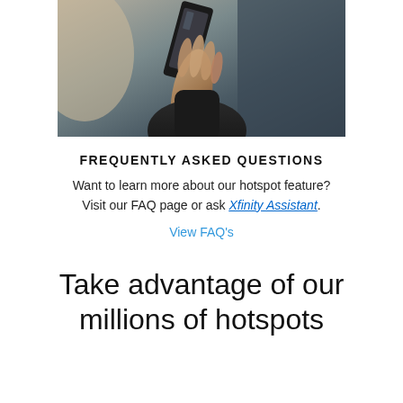[Figure (photo): A hand holding a smartphone up against a blurred urban background.]
FREQUENTLY ASKED QUESTIONS
Want to learn more about our hotspot feature? Visit our FAQ page or ask Xfinity Assistant.
View FAQ's
Take advantage of our millions of hotspots